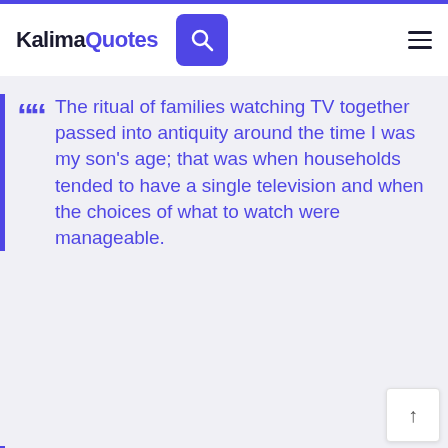KalimaQuotes
The ritual of families watching TV together passed into antiquity around the time I was my son's age; that was when households tended to have a single television and when the choices of what to watch were manageable.
The witch-hunting